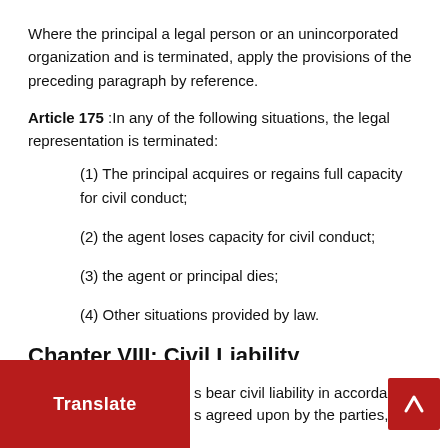Where the principal a legal person or an unincorporated organization and is terminated, apply the provisions of the preceding paragraph by reference.
Article 175 :In any of the following situations, the legal representation is terminated:
(1) The principal acquires or regains full capacity for civil conduct;
(2) the agent loses capacity for civil conduct;
(3) the agent or principal dies;
(4) Other situations provided by law.
Chapter VIII: Civil Liability
s bear civil liability in accordance s agreed upon by the parties, for